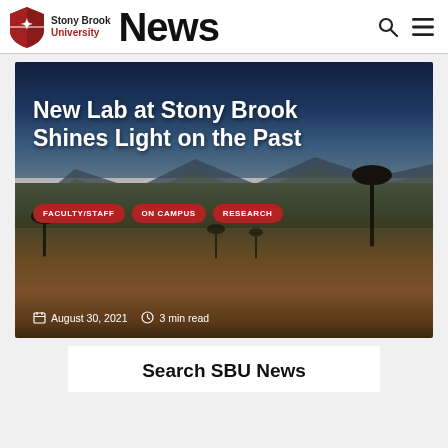Stony Brook University News
[Figure (photo): Aerial/landscape photo of African savanna with dry terrain, scattered acacia trees, mountains in background under blue sky. Overlaid with headline text, category tags, and date/read-time metadata.]
New Lab at Stony Brook Shines Light on the Past
FACULTY/STAFF
ON CAMPUS
RESEARCH
August 30, 2021   3 min read
Search SBU News